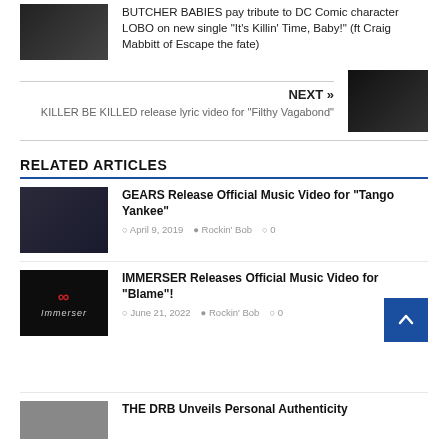BUTCHER BABIES pay tribute to DC Comic character LOBO on new single “It’s Killin’ Time, Baby!” (ft Craig Mabbitt of Escape the fate)
NEXT » KILLER BE KILLED release lyric video for “Filthy Vagabond”
RELATED ARTICLES
GEARS Release Official Music Video for “Tango Yankee”
April 9, 2019  Rockin' Bob  0
IMMERSER Releases Official Music Video for “Blame”!
June 21, 2022  Rockin' Bob  0
THE DRB Unveils Personal Authenticity